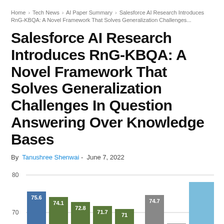Home > Tech News > AI Paper Summary > Salesforce AI Research Introduces RnG-KBQA: A Novel Framework That Solves Generalization Challenges...
Salesforce AI Research Introduces RnG-KBQA: A Novel Framework That Solves Generalization Challenges In Question Answering Over Knowledge Bases
By Tanushree Shenwai - June 7, 2022
[Figure (bar-chart): Bar chart showing values around 67-75.6, with a y-axis gridline at 70 and 80. Colors: blue, dark green, dark green, dark green, dark green, gray, gray, light blue (partial).]